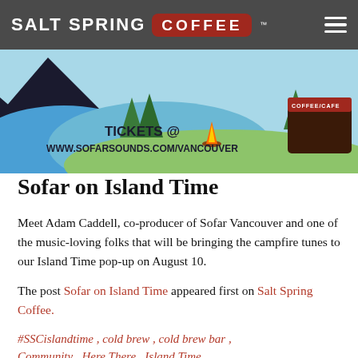SALT SPRING COFFEE
[Figure (illustration): Colorful festival/camping illustration showing mountains, trees, campfire, and text 'TICKETS @ WWW.SOFARSOUNDS.COM/VANCOUVER']
Sofar on Island Time
Meet Adam Caddell, co-producer of Sofar Vancouver and one of the music-loving folks that will be bringing the campfire tunes to our Island Time pop-up on August 10.
The post Sofar on Island Time appeared first on Salt Spring Coffee.
#SSCislandtime , cold brew , cold brew bar , Community , Here There , Island Time ,